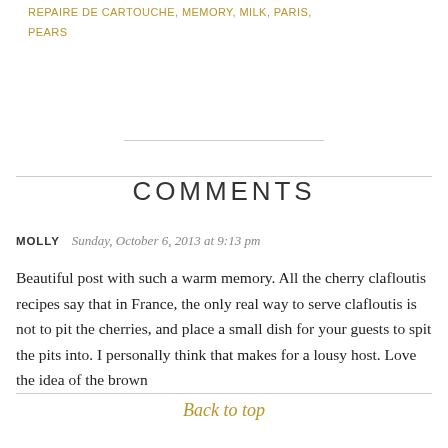Filed under: CLAFLOUTIS, LOSS, FAMILY, FRANCE, LE REPAIRE DE CARTOUCHE, MEMORY, MILK, PARIS, PEARS
COMMENTS
MOLLY   Sunday, October 6, 2013 at 9:13 pm
Beautiful post with such a warm memory. All the cherry clafloutis recipes say that in France, the only real way to serve clafloutis is not to pit the cherries, and place a small dish for your guests to spit the pits into. I personally think that makes for a lousy host. Love the idea of the brown
Back to top